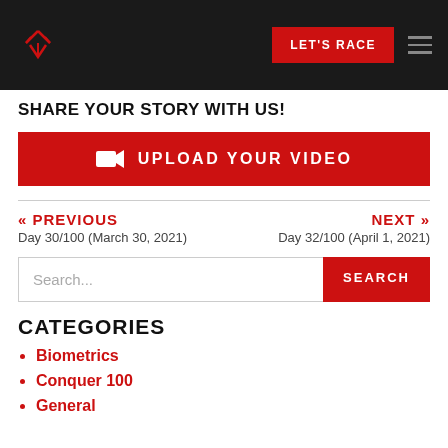LET'S RACE [navigation header with logo and hamburger menu]
SHARE YOUR STORY WITH US!
[Figure (other): Red button bar with camera icon and text UPLOAD YOUR VIDEO]
<< PREVIOUS
Day 30/100 (March 30, 2021)
NEXT >>
Day 32/100 (April 1, 2021)
Search...
CATEGORIES
Biometrics
Conquer 100
General